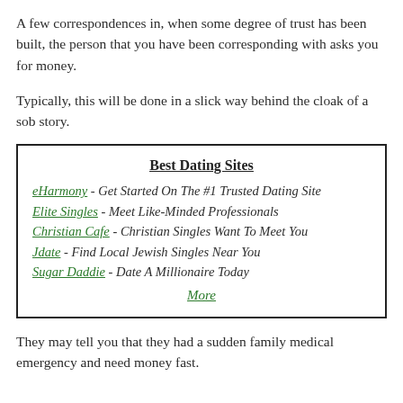A few correspondences in, when some degree of trust has been built, the person that you have been corresponding with asks you for money.
Typically, this will be done in a slick way behind the cloak of a sob story.
| Best Dating Sites |
| eHarmony - Get Started On The #1 Trusted Dating Site |
| Elite Singles - Meet Like-Minded Professionals |
| Christian Cafe - Christian Singles Want To Meet You |
| Jdate - Find Local Jewish Singles Near You |
| Sugar Daddie - Date A Millionaire Today |
| More |
They may tell you that they had a sudden family medical emergency and need money fast.